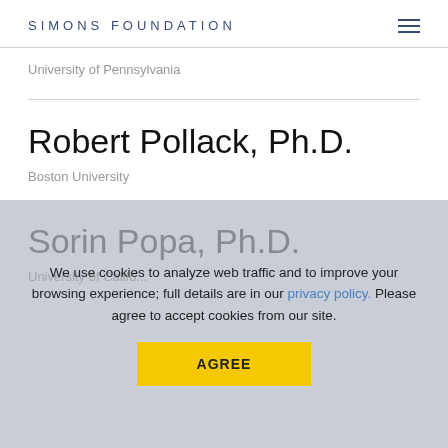SIMONS FOUNDATION
University of Pennsylvania
Robert Pollack, Ph.D.
Boston University
We use cookies to analyze web traffic and to improve your browsing experience; full details are in our privacy policy. Please agree to accept cookies from our site.
AGREE
Sorin Popa, Ph.D.
University of Califo...